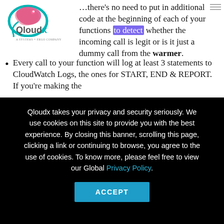[Figure (logo): Qloudx logo with chameleon graphic — colorful chameleon icon with teal circular shape and text 'QloudX', subtitle 'A SYSTEMS + ERGO COMPANY']
There's no need to put in additional code at the beginning of each of your functions to detect whether the incoming call is legit or is it just a dummy call from the warmer.
Every call to your function will log at least 3 statements to CloudWatch Logs, the ones for START, END & REPORT. If you're making the
Qloudx takes your privacy and security seriously. We use cookies on this site to provide you with the best experience. By closing this banner, scrolling this page, clicking a link or continuing to browse, you agree to the use of cookies. To know more, please feel free to view our Global Privacy Policy.